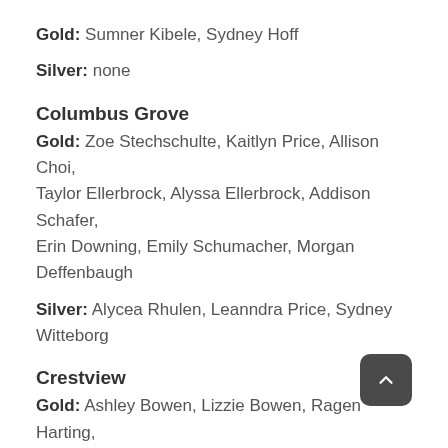Gold: Sumner Kibele, Sydney Hoff
Silver: none
Columbus Grove
Gold: Zoe Stechschulte, Kaitlyn Price, Allison Choi, Taylor Ellerbrock, Alyssa Ellerbrock, Addison Schafer, Erin Downing, Emily Schumacher, Morgan Deffenbaugh
Silver: Alycea Rhulen, Leanndra Price, Sydney Witteborg
Crestview
Gold: Ashley Bowen, Lizzie Bowen, Ragen Harting, Kenzie Leeth, Savannah Smith
Silver: Adalynn Longstreth, Elizabeth Mitchener, Lydia Saylor
Lincolnview